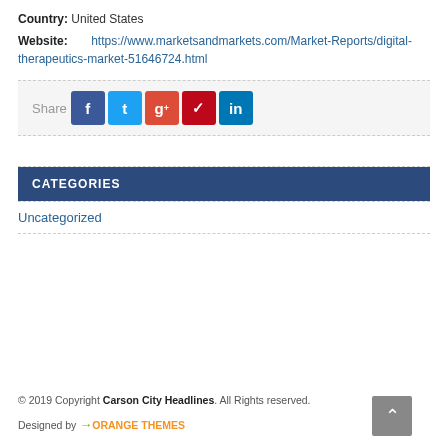Country: United States
Website: https://www.marketsandmarkets.com/Market-Reports/digital-therapeutics-market-51646724.html
[Figure (infographic): Share buttons row: Facebook (blue), Twitter (cyan), Google+ (orange-red), Pinterest (red), LinkedIn (blue), with 'Share' label]
CATEGORIES
Uncategorized
© 2019 Copyright Carson City Headlines. All Rights Reserved. Designed by ORANGE THEMES